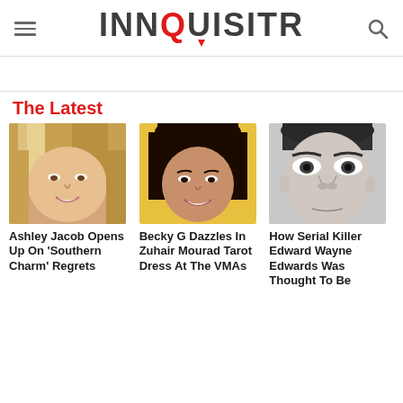INQUISITR
The Latest
[Figure (photo): Blonde woman smiling, close-up portrait photo]
Ashley Jacob Opens Up On 'Southern Charm' Regrets
[Figure (photo): Young brunette woman smiling in front of yellow background]
Becky G Dazzles In Zuhair Mourad Tarot Dress At The VMAs
[Figure (photo): Black and white close-up photo of a man's face]
How Serial Killer Edward Wayne Edwards Was Thought To Be